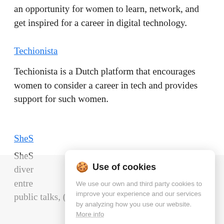an opportunity for women to learn, network, and get inspired for a career in digital technology.
Techionista
Techionista is a Dutch platform that encourages women to consider a career in tech and provides support for such women.
SheS
SheS diver entre public talks, (coding) workshops, panel events, or
[Figure (screenshot): Cookie consent dialog box with title 'Use of cookies', body text 'We use our own and third party cookies to improve your experience and our services by analyzing how you use our website. More info', and an 'Accept' button in blue.]